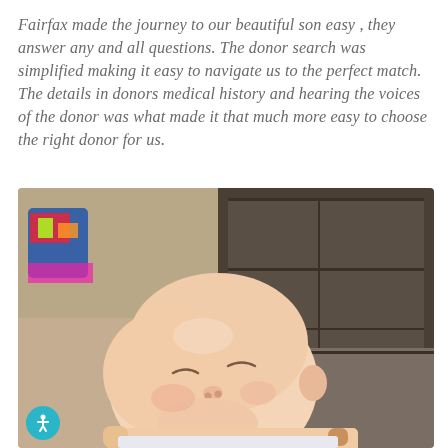Fairfax made the journey to our beautiful son easy , they answer any and all questions. The donor search was simplified making it easy to navigate us to the perfect match. The details in donors medical history and hearing the voices of the donor was what made it that much more easy to choose the right donor for us.
[Figure (photo): Close-up photo of a smiling newborn baby with eyes squinted shut and mouth open in a wide smile, held by a person's hand. Background shows a beige carpet and a dark wooden dresser or shelf unit. A colorful bag is visible in the upper left corner.]